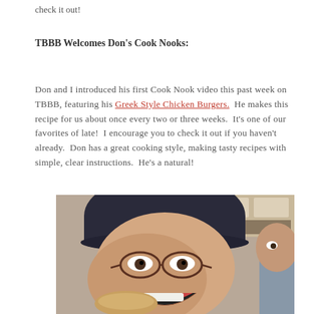check it out!
TBBB Welcomes Don's Cook Nooks:
Don and I introduced his first Cook Nook video this past week on TBBB, featuring his Greek Style Chicken Burgers.  He makes this recipe for us about once every two or three weeks.  It's one of our favorites of late!  I encourage you to check it out if you haven't already.  Don has a great cooking style, making tasty recipes with simple, clear instructions.  He's a natural!
[Figure (photo): A man wearing a dark baseball cap and glasses with his mouth open wide as if about to eat something, photographed close-up in a kitchen. A woman in a gray top is partially visible on the right side.]